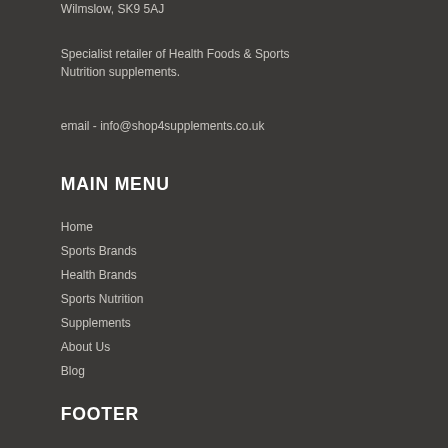Wilmslow, SK9 5AJ
Specialist retailer of Health Foods & Sports Nutrition supplements.
email - info@shop4supplements.co.uk
MAIN MENU
Home
Sports Brands
Health Brands
Sports Nutrition
Supplements
About Us
Blog
FOOTER